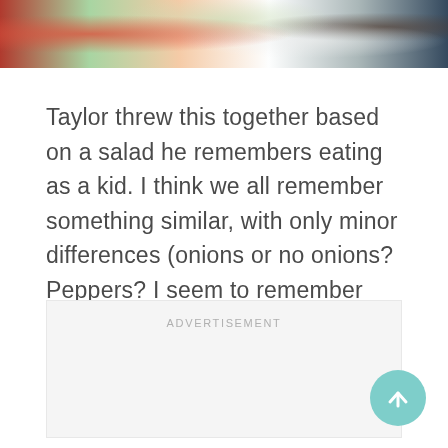[Figure (photo): Partial view of a salad with colorful vegetables including red peppers, green vegetables, white onions, and dark olives at the top of the page.]
Taylor threw this together based on a salad he remembers eating as a kid. I think we all remember something similar, with only minor differences (onions or no onions? Peppers? I seem to remember peppers in here too).
ADVERTISEMENT